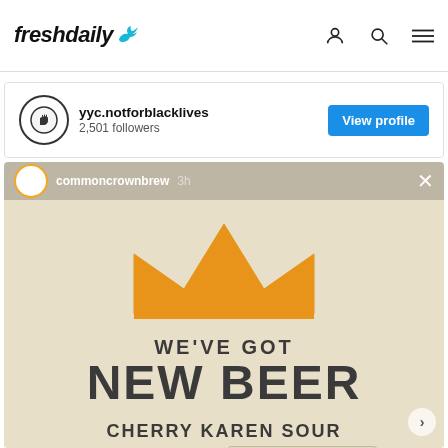freshdaily
yyc.notforblacklives
2,501 followers
View profile
commoncrownbrew  3h
[Figure (illustration): Orange crown logo illustration on beige background with text: WE'VE GOT NEW BEER — CHERRY KAREN SOUR — FEAT. LOCAL ARTIST @KALESAUVERWALD]
WE'VE GOT
NEW BEER
CHERRY KAREN SOUR
FEAT. LOCAL ARTIST @KALESAUVERWALD